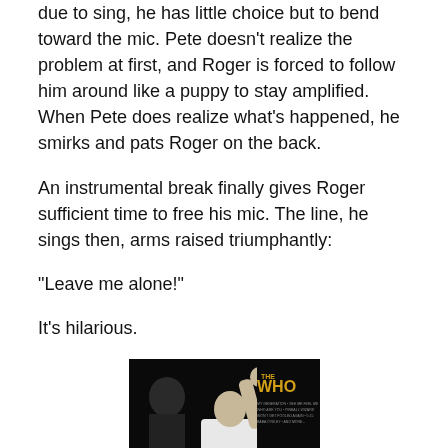due to sing, he has little choice but to bend toward the mic. Pete doesn't realize the problem at first, and Roger is forced to follow him around like a puppy to stay amplified. When Pete does realize what's happened, he smirks and pats Roger on the back.
An instrumental break finally gives Roger sufficient time to free his mic. The line, he sings then, arms raised triumphantly:
“Leave me alone!”
It’s hilarious.
[Figure (photo): Album cover for The Who 'Live From Toronto' showing a performer with arm raised holding a microphone in black and white, with the band name 'The WHO' printed in gold text and track listing on the right side.]